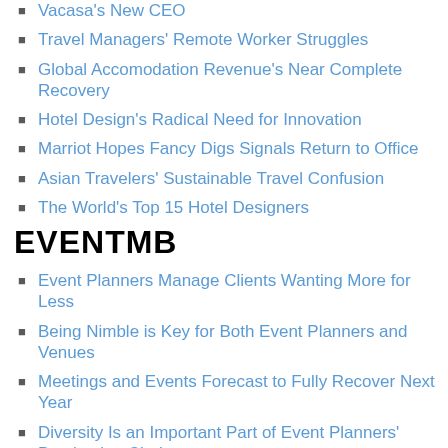Vacasa's New CEO
Travel Managers' Remote Worker Struggles
Global Accomodation Revenue's Near Complete Recovery
Hotel Design's Radical Need for Innovation
Marriot Hopes Fancy Digs Signals Return to Office
Asian Travelers' Sustainable Travel Confusion
The World's Top 15 Hotel Designers
EVENTMB
Event Planners Manage Clients Wanting More for Less
Being Nimble is Key for Both Event Planners and Venues
Meetings and Events Forecast to Fully Recover Next Year
Diversity Is an Important Part of Event Planners' Destination Choices
Apprenticeships Seeing a Renaissance Amidst Event Industry Jobs Crisis